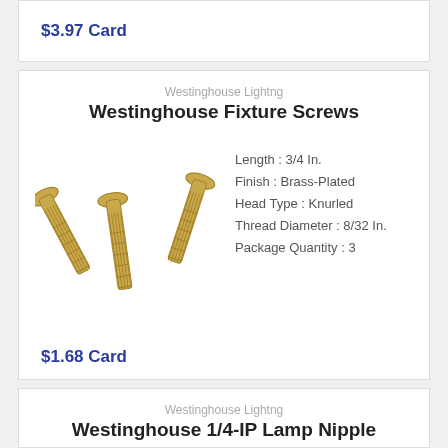$3.97 Card
Westinghouse Lightng
Westinghouse Fixture Screws
[Figure (photo): Three brass-plated knurled head fixture screws fanned out on white background]
Length : 3/4 In.
Finish : Brass-Plated
Head Type : Knurled
Thread Diameter : 8/32 In.
Package Quantity : 3
$1.68 Card
Westinghouse Lightng
Westinghouse 1/4-IP Lamp Nipple